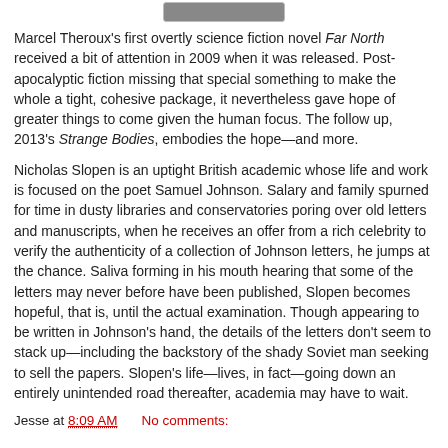[Figure (photo): Small book cover image at the top of the page]
Marcel Theroux's first overtly science fiction novel Far North received a bit of attention in 2009 when it was released. Post-apocalyptic fiction missing that special something to make the whole a tight, cohesive package, it nevertheless gave hope of greater things to come given the human focus. The follow up, 2013's Strange Bodies, embodies the hope—and more.
Nicholas Slopen is an uptight British academic whose life and work is focused on the poet Samuel Johnson. Salary and family spurned for time in dusty libraries and conservatories poring over old letters and manuscripts, when he receives an offer from a rich celebrity to verify the authenticity of a collection of Johnson letters, he jumps at the chance. Saliva forming in his mouth hearing that some of the letters may never before have been published, Slopen becomes hopeful, that is, until the actual examination. Though appearing to be written in Johnson's hand, the details of the letters don't seem to stack up—including the backstory of the shady Soviet man seeking to sell the papers. Slopen's life—lives, in fact—going down an entirely unintended road thereafter, academia may have to wait.
Jesse at 8:09 AM    No comments: